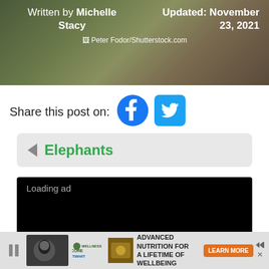[Figure (photo): Hero image showing elephants in natural habitat with green foliage background. White text overlay showing author and updated date information, plus photo credit.]
Written by Michelle Stacy
Updated: November 23, 2021
🖼 Peter Fodor/Shutterstock.com
Share this post on:
[Figure (logo): Facebook circular blue icon and Twitter square blue icon for social sharing]
◄ Elephants
[Figure (screenshot): Black ad loading area with 'Loading ad' text in light gray]
[Figure (infographic): Bottom advertisement bar: Wellness Core PetSmart ad with dog photo, product image, text 'Advanced Nutrition for a Lifetime of Wellbeing' and orange Learn More button]